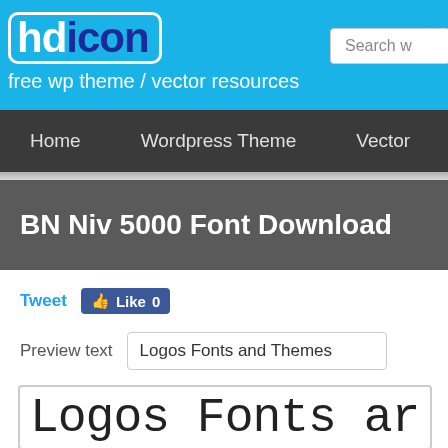hdicon - free wp theme / vector resources
Home   Wordpress Theme   Vector
BN Niv 5000 Font Download
Tweet  Like 0
Preview text   Logos Fonts and Themes
[Figure (screenshot): Font preview showing 'Logos Fonts ar' in a thin rounded sans-serif font inside a bordered box]